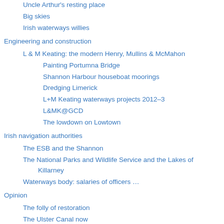Uncle Arthur's resting place
Big skies
Irish waterways willies
Engineering and construction
L & M Keating: the modern Henry, Mullins & McMahon
Painting Portumna Bridge
Shannon Harbour houseboat moorings
Dredging Limerick
L+M Keating waterways projects 2012–3
L&MK@GCD
The lowdown on Lowtown
Irish navigation authorities
The ESB and the Shannon
The National Parks and Wildlife Service and the Lakes of Killarney
Waterways body: salaries of officers …
Opinion
The folly of restoration
The Ulster Canal now
The Ulster Canal 00: overview